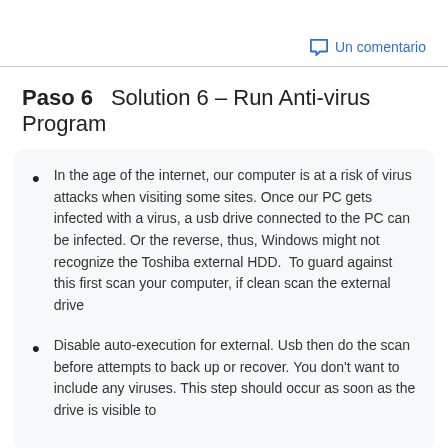Un comentario
Paso 6    Solution 6 – Run Anti-virus Program
In the age of the internet, our computer is at a risk of virus attacks when visiting some sites. Once our PC gets infected with a virus, a usb drive connected to the PC can be infected. Or the reverse, thus, Windows might not recognize the Toshiba external HDD.  To guard against this first scan your computer, if clean scan the external drive
Disable auto-execution for external. Usb then do the scan before attempts to back up or recover. You don't want to include any viruses. This step should occur as soon as the drive is visible to